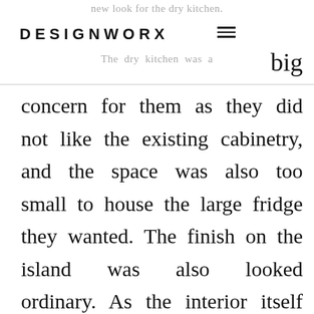new look for the dry kitchen. DESIGNWORX ☰ The dry kitchen was a big
concern for them as they did not like the existing cabinetry, and the space was also too small to house the large fridge they wanted. The finish on the island was also looked ordinary. As the interior itself was in a good condition, the team thought about how they could best improve its design without